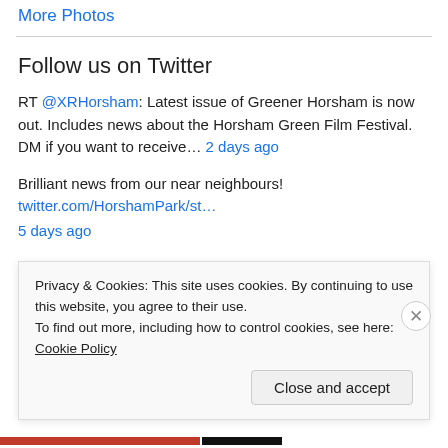More Photos
Follow us on Twitter
RT @XRHorsham: Latest issue of Greener Horsham is now out. Includes news about the Horsham Green Film Festival. DM if you want to receive… 2 days ago
Brilliant news from our near neighbours! twitter.com/HorshamPark/st… 5 days ago
Any day now the British White cattle will be moving briefly into Little
Privacy & Cookies: This site uses cookies. By continuing to use this website, you agree to their use. To find out more, including how to control cookies, see here: Cookie Policy
Close and accept